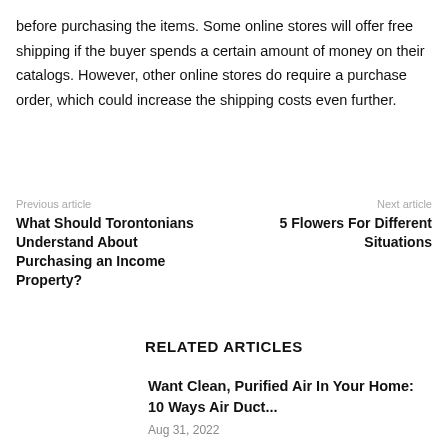before purchasing the items. Some online stores will offer free shipping if the buyer spends a certain amount of money on their catalogs. However, other online stores do require a purchase order, which could increase the shipping costs even further.
Previous article
What Should Torontonians Understand About Purchasing an Income Property?
Next article
5 Flowers For Different Situations
RELATED ARTICLES
Want Clean, Purified Air In Your Home: 10 Ways Air Duct...
Aug 31, 2022